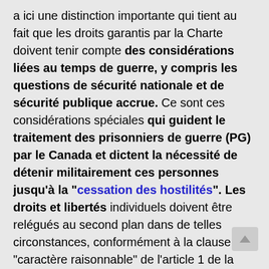a ici une distinction importante qui tient au fait que les droits garantis par la Charte doivent tenir compte des considérations liées au temps de guerre, y compris les questions de sécurité nationale et de sécurité publique accrue. Ce sont ces considérations spéciales qui guident le traitement des prisonniers de guerre (PG) par le Canada et dictent la nécessité de détenir militairement ces personnes jusqu'à la "cessation des hostilités". Les droits et libertés individuels doivent être relégués au second plan dans de telles circonstances, conformément à la clause de "caractère raisonnable" de l'article 1 de la Charte. La Charte ne peut être perçue comme sanctionnant la